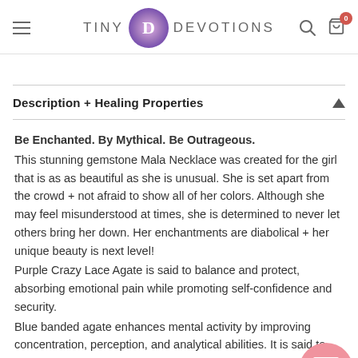TINY DEVOTIONS
Description + Healing Properties
Be Enchanted. By Mythical. Be Outrageous.
This stunning gemstone Mala Necklace was created for the girl that is as as beautiful as she is unusual. She is set apart from the crowd + not afraid to show all of her colors. Although she may feel misunderstood at times, she is determined to never let others bring her down. Her enchantments are diabolical + her unique beauty is next level!
Purple Crazy Lace Agate is said to balance and protect, absorbing emotional pain while promoting self-confidence and security.
Blue banded agate enhances mental activity by improving concentration, perception, and analytical abilities. It is said to promote self-acceptance and confidence, Agate overcomes negativity and harshness of the heart, by healing anger,